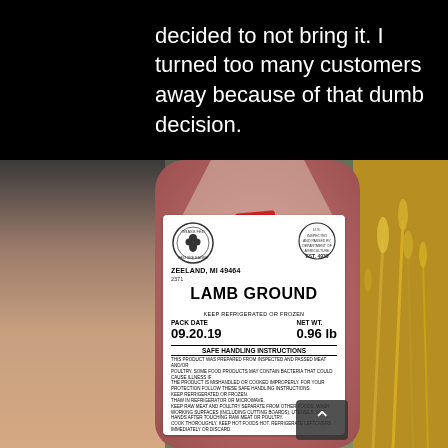decided to not bring it. I turned too many customers away because of that dumb decision.
[Figure (photo): A hand holding a package of frozen ground lamb meat. The white label on the package shows: ZEELAND, MI 49464, LAMB GROUND, PACK DATE 09.20.19, NET WT 0.96 lb, KEEP REFRIGERATED OR FROZEN, SAFE HANDLING INSTRUCTIONS. There are two circular stamps on the label. To the right of the package is a golden wheat/plant stalk in sunlight.]